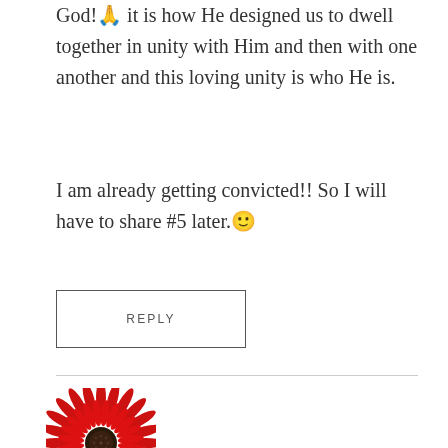God! 🙏 it is how He designed us to dwell together in unity with Him and then with one another and this loving unity is who He is.
I am already getting convicted!! So I will have to share #5 later. 🙂
REPLY
[Figure (photo): A red gerbera daisy flower with bright red petals and a dark center, photographed on a white background.]